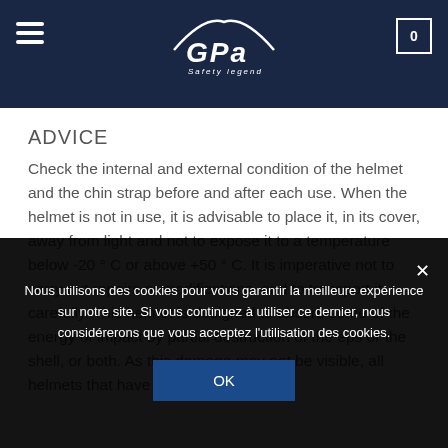GPA Safety Legend
ADVICE
Check the internal and external condition of the helmet and the chin strap before and after each use. When the helmet is not in use, it is advisable to place it, in its cover, away from light and not to expose it to a temperature below -20 ° C or above +50 ° C. It is imperative not to carry out repairs or modifications, and to transport it carefully. This helmet is designed to absorb some of the energy of impact by partial destruction of the eps or the shell, or both. As this damage may not be visible, all helmets that have been impacted
Nous utilisons des cookies pour vous garantir la meilleure expérience sur notre site. Si vous continuez à utiliser ce dernier, nous considérerons que vous acceptez l'utilisation des cookies.
OK